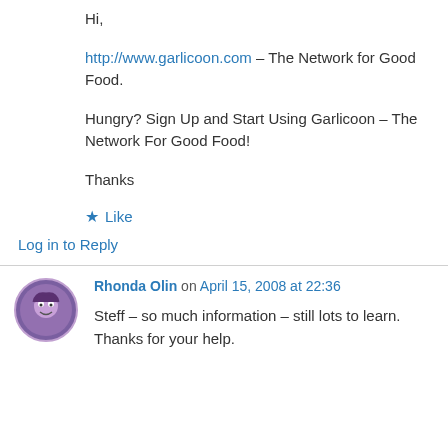Hi,
consider this one as well: http://www.garlicoon.com – The Network for Good Food.
Hungry? Sign Up and Start Using Garlicoon – The Network For Good Food!
Thanks
★ Like
Log in to Reply
Rhonda Olin on April 15, 2008 at 22:36
Steff – so much information – still lots to learn. Thanks for your help.